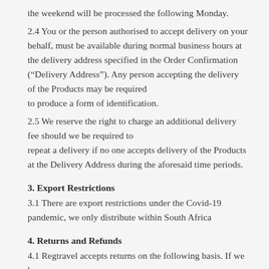the weekend will be processed the following Monday.
2.4 You or the person authorised to accept delivery on your behalf, must be available during normal business hours at the delivery address specified in the Order Confirmation (“Delivery Address”). Any person accepting the delivery of the Products may be required to produce a form of identification.
2.5 We reserve the right to charge an additional delivery fee should we be required to repeat a delivery if no one accepts delivery of the Products at the Delivery Address during the aforesaid time periods.
3. Export Restrictions
3.1 There are export restrictions under the Covid-19 pandemic, we only distribute within South Africa
4. Returns and Refunds
4.1 Regtravel accepts returns on the following basis. If we have